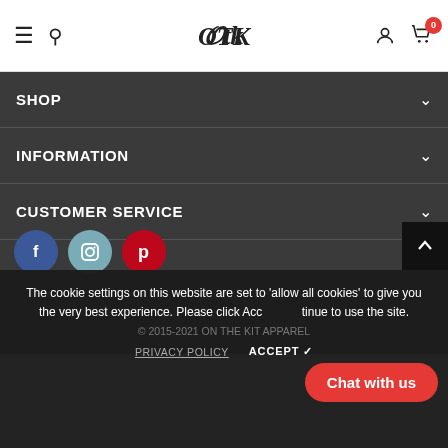OTK — navigation header with hamburger, search, logo, user, cart (0)
SHOP
INFORMATION
CUSTOMER SERVICE
[Figure (infographic): Social media icons: Facebook (blue circle), Instagram (teal circle), Pinterest (red circle)]
The cookie settings on this website are set to 'allow all cookies' to give you the very best experience. Please click Accept to continue to use the site.
© 2015-2021 ON THE KIT APPAREL
PRIVACY POLICY   ACCEPT ✓
Chat with us